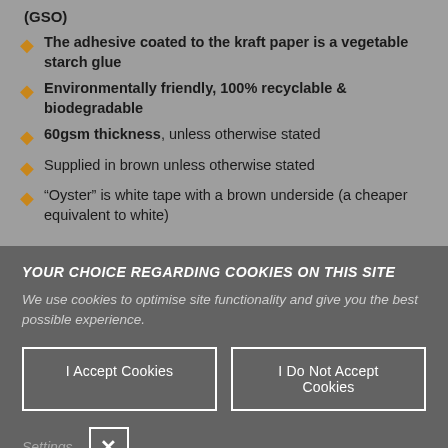(GSO)
The adhesive coated to the kraft paper is a vegetable starch glue
Environmentally friendly, 100% recyclable & biodegradable
60gsm thickness, unless otherwise stated
Supplied in brown unless otherwise stated
“Oyster” is white tape with a brown underside (a cheaper equivalent to white)
YOUR CHOICE REGARDING COOKIES ON THIS SITE
We use cookies to optimise site functionality and give you the best possible experience.
I Accept Cookies
I Do Not Accept Cookies
Settings